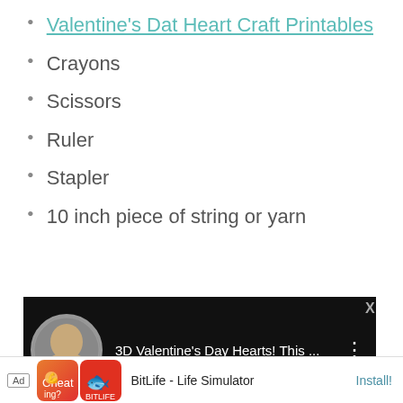Valentine's Dat Heart Craft Printables
Crayons
Scissors
Ruler
Stapler
10 inch piece of string or yarn
How To Asse
Day 3D Hang
[Figure (screenshot): Screenshot of a YouTube video titled '3D Valentine's Day Hearts! This ...' with a circular thumbnail showing a woman, on a black background, with three-dot menu icon.]
[Figure (screenshot): Advertisement bar showing 'Ad' label, Cheating? app icon, BitLife app icon, 'BitLife - Life Simulator' text, and 'Install!' button]